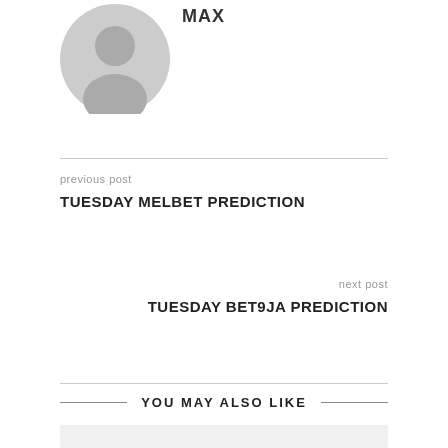[Figure (illustration): Gray default user avatar silhouette icon]
MAX
previous post
TUESDAY MELBET PREDICTION
next post
TUESDAY BET9JA PREDICTION
YOU MAY ALSO LIKE
[Figure (other): Gray placeholder image/card area]